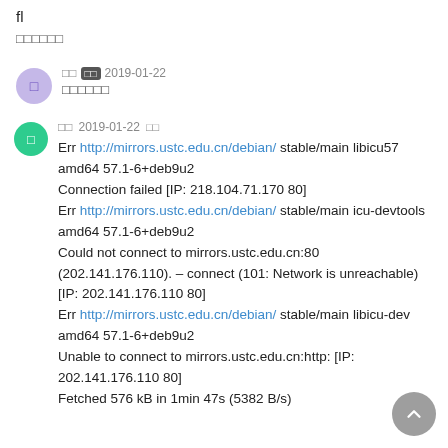fl
□□□□□□
□□ □ 2019-01-22 □□□□□□
□□ 2019-01-22 □
Err http://mirrors.ustc.edu.cn/debian/ stable/main libicu57 amd64 57.1-6+deb9u2
Connection failed [IP: 218.104.71.170 80]
Err http://mirrors.ustc.edu.cn/debian/ stable/main icu-devtools amd64 57.1-6+deb9u2
Could not connect to mirrors.ustc.edu.cn:80 (202.141.176.110). – connect (101: Network is unreachable) [IP: 202.141.176.110 80]
Err http://mirrors.ustc.edu.cn/debian/ stable/main libicu-dev amd64 57.1-6+deb9u2
Unable to connect to mirrors.ustc.edu.cn:http: [IP: 202.141.176.110 80]
Fetched 576 kB in 1min 47s (5382 B/s)